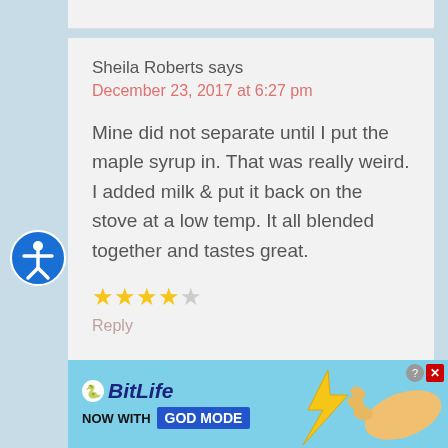Sheila Roberts says
December 23, 2017 at 6:27 pm
Mine did not separate until I put the maple syrup in. That was really weird. I added milk & put it back on the stove at a low temp. It all blended together and tastes great.
[Figure (other): 4 out of 5 stars rating (4 filled gold stars, 1 empty gray star)]
Reply
[Figure (other): BitLife advertisement banner - NOW WITH GOD MODE]
[Figure (other): Accessibility icon - blue circle with person figure]